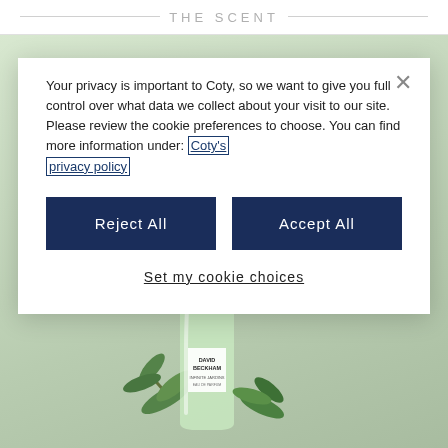THE SCENT
Your privacy is important to Coty, so we want to give you full control over what data we collect about your visit to our site. Please review the cookie preferences to choose. You can find more information under: Coty's privacy policy
Reject All
Accept All
Set my cookie choices
[Figure (photo): David Beckham Infinite Jardins Eau de Parfum bottle in light green glass with black cap, surrounded by green botanical elements on a light green background]